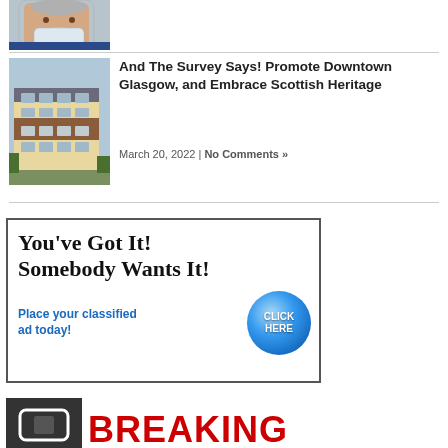[Figure (photo): Headshot of a man with gray beard wearing a blue jacket and face mask pulled down]
[Figure (photo): Multi-story apartment or commercial building exterior with tan and brown siding]
And The Survey Says! Promote Downtown Glasgow, and Embrace Scottish Heritage
March 20, 2022 | No Comments »
[Figure (infographic): Advertisement: You've Got It! Somebody Wants It! Place your classified ad today! with a blue CLICK HERE button]
[Figure (photo): Dark image partially visible with BREAKING text in red]
BREAKING